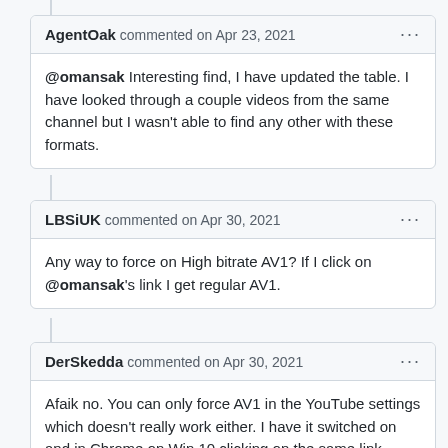AgentOak commented on Apr 23, 2021
@omansak Interesting find, I have updated the table. I have looked through a couple videos from the same channel but I wasn't able to find any other with these formats.
LBSiUK commented on Apr 30, 2021
Any way to force on High bitrate AV1? If I click on @omansak's link I get regular AV1.
DerSkedda commented on Apr 30, 2021
Afaik no. You can only force AV1 in the YouTube settings which doesn't really work either. I have it switched on and in Chrome on Win 10 clicking on the same link results in AV1